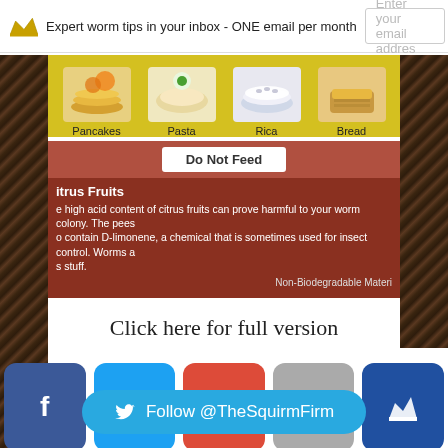Expert worm tips in your inbox - ONE email per month
[Figure (screenshot): Partial infographic showing food items (Pancakes, Pasta, Rice, Bread) on yellow background, 'Do Not Feed' section with Citrus Fruits warning text, partially cropped]
Click here for full version
[Figure (infographic): Social sharing buttons: Facebook (blue), Twitter (light blue), Google+ (red), Email (grey), Crown/royalty (dark blue)]
[Figure (infographic): Twitter Follow button: Follow @TheSquirmFirm]